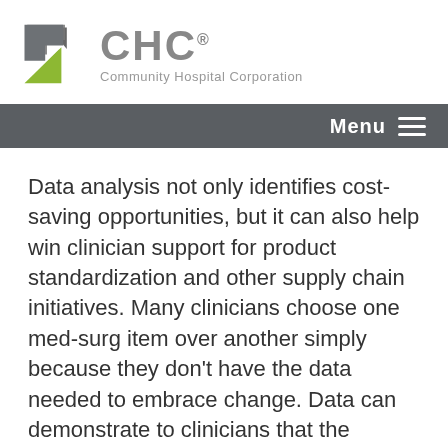[Figure (logo): CHC Community Hospital Corporation logo with green and grey triangular icon and grey CHC text]
Menu
Data analysis not only identifies cost-saving opportunities, but it can also help win clinician support for product standardization and other supply chain initiatives. Many clinicians choose one med-surg item over another simply because they don't have the data needed to embrace change. Data can demonstrate to clinicians that the hospital's ultimate goal is also improved patient care. For